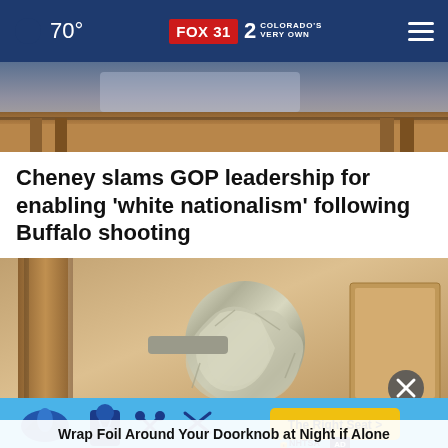70° FOX31 2 COLORADO'S VERY OWN
[Figure (photo): Top partial image showing what appears to be a photo partially visible at the top of the page]
Cheney slams GOP leadership for enabling ‘white nationalism’ following Buffalo shooting
[Figure (photo): A door knob wrapped in aluminum foil, photographed against a beige wooden door. An advertisement overlay is visible at the bottom with car seat safety icons and 'The Right Seat >' button, along with NHTSA logo.]
Wrap Foil Around Your Doorknob at Night if Alone